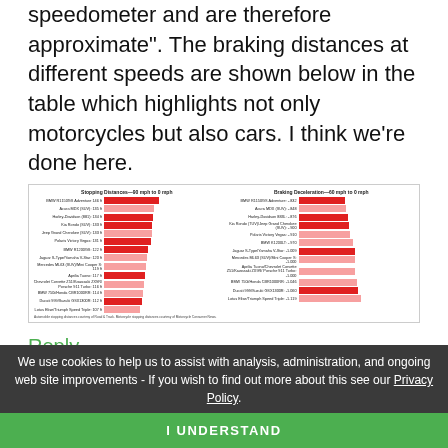speedometer and are therefore approximate". The braking distances at different speeds are shown below in the table which highlights not only motorcycles but also cars. I think we're done here.
[Figure (bar-chart): Two horizontal bar charts side by side. Left chart shows stopping distances in feet at 90 mph to 0 mph for various motorcycles and cars. Right chart shows braking deceleration at 60 mph to 0 mph. Red bars indicate motorcycles, salmon/pink bars indicate cars.]
Reply
We use cookies to help us to assist with analysis, administration, and ongoing web site improvements - If you wish to find out more about this see our Privacy Policy.
I UNDERSTAND